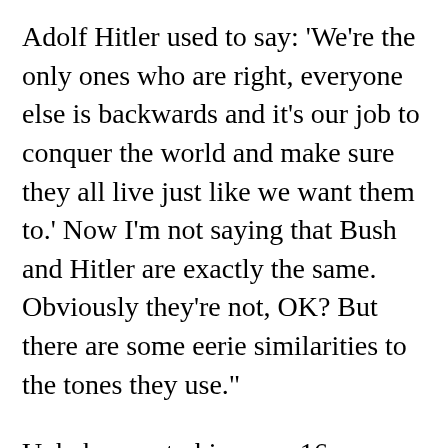Adolf Hitler used to say: 'We're the only ones who are right, everyone else is backwards and it's our job to conquer the world and make sure they all live just like we want them to.' Now I'm not saying that Bush and Hitler are exactly the same. Obviously they're not, OK? But there are some eerie similarities to the tones they use."
Unbeknown to him, one 16-year-old student, Sean Allen, recorded part of the class on his MP3 player. When his Republican father heard it he was so incensed that he shopped it around to local conservative radio stations, where it finally found a home with radio talk-show host